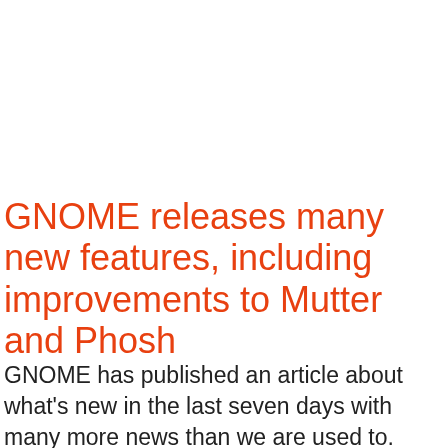GNOME releases many new features, including improvements to Mutter and Phosh
GNOME has published an article about what's new in the last seven days with many more news than we are used to.